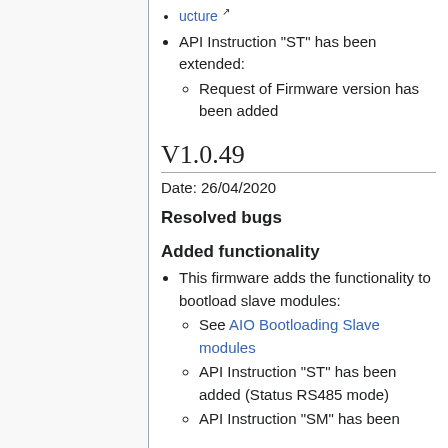ucture (link)
API Instruction "ST" has been extended:
Request of Firmware version has been added
V1.0.49
Date: 26/04/2020
Resolved bugs
Added functionality
This firmware adds the functionality to bootload slave modules:
See AIO Bootloading Slave modules
API Instruction "ST" has been added (Status RS485 mode)
API Instruction "SM" has been